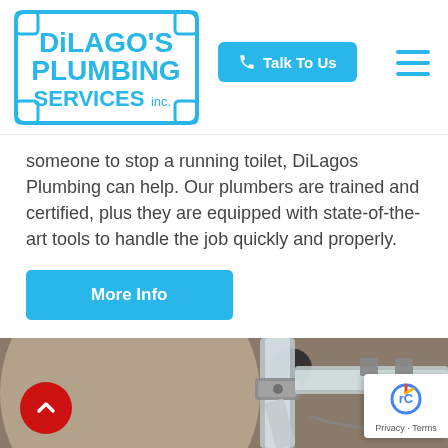[Figure (logo): DiLago's Plumbing Services Inc. logo in blue with pipe-style border]
[Figure (other): Talk To Us button with phone icon in cyan/blue]
someone to stop a running toilet, DiLagos Plumbing can help. Our plumbers are trained and certified, plus they are equipped with state-of-the-art tools to handle the job quickly and properly.
[Figure (other): More Info button in cyan blue]
[Figure (photo): Close-up photograph of chrome plumbing pipes and fittings under a sink]
[Figure (other): Red back-to-top circular button with upward chevron]
[Figure (other): reCAPTCHA badge with Privacy and Terms links]